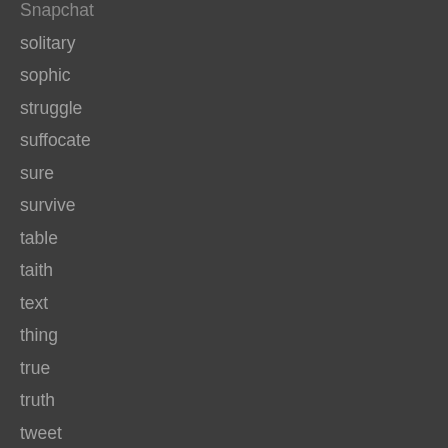Snapchat
solitary
sophic
struggle
suffocate
sure
survive
table
taith
text
thing
true
truth
tweet
Uncategorized